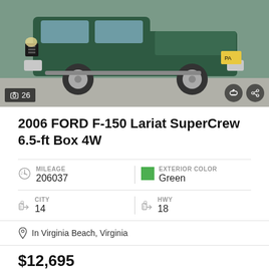[Figure (photo): 2006 Ford F-150 Lariat SuperCrew pickup truck, dark green exterior, side view, parked outdoors. Photo count overlay shows 26 photos.]
2006 FORD F-150 Lariat SuperCrew 6.5-ft Box 4W
MILEAGE 206037
EXTERIOR COLOR Green
CITY 14
HWY 18
In Virginia Beach, Virginia
$12,695
SELLER DETAILS